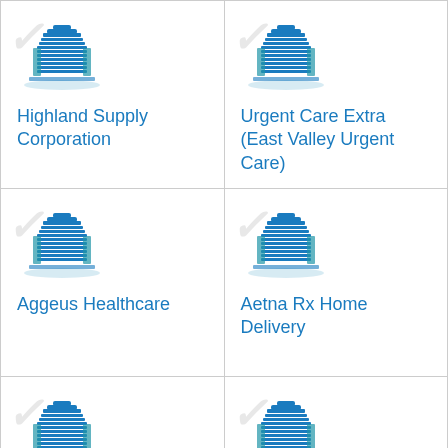[Figure (illustration): Building/hospital icon for Highland Supply Corporation]
Highland Supply Corporation
[Figure (illustration): Building/hospital icon for Urgent Care Extra (East Valley Urgent Care)]
Urgent Care Extra (East Valley Urgent Care)
[Figure (illustration): Building/hospital icon for Aggeus Healthcare]
Aggeus Healthcare
[Figure (illustration): Building/hospital icon for Aetna Rx Home Delivery]
Aetna Rx Home Delivery
[Figure (illustration): Building/hospital icon (partial, bottom-left cell)]
[Figure (illustration): Building/hospital icon (partial, bottom-right cell)]